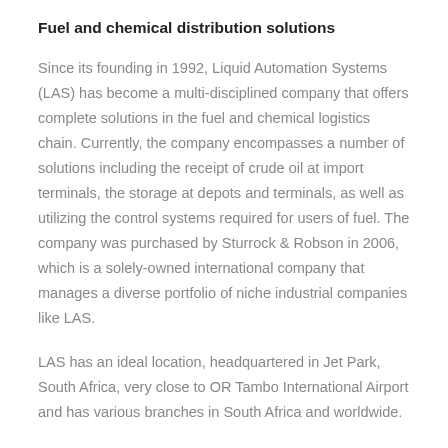Fuel and chemical distribution solutions
Since its founding in 1992, Liquid Automation Systems (LAS) has become a multi-disciplined company that offers complete solutions in the fuel and chemical logistics chain. Currently, the company encompasses a number of solutions including the receipt of crude oil at import terminals, the storage at depots and terminals, as well as utilizing the control systems required for users of fuel. The company was purchased by Sturrock & Robson in 2006, which is a solely-owned international company that manages a diverse portfolio of niche industrial companies like LAS.
LAS has an ideal location, headquartered in Jet Park, South Africa, very close to OR Tambo International Airport and has various branches in South Africa and worldwide.